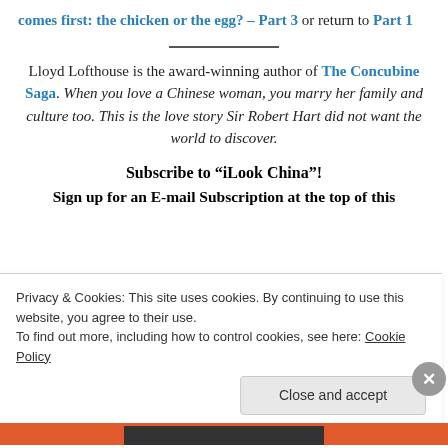comes first: the chicken or the egg? – Part 3 or return to Part 1
Lloyd Lofthouse is the award-winning author of The Concubine Saga. When you love a Chinese woman, you marry her family and culture too. This is the love story Sir Robert Hart did not want the world to discover.
Subscribe to “iLook China”!
Sign up for an E-mail Subscription at the top of this
Privacy & Cookies: This site uses cookies. By continuing to use this website, you agree to their use.
To find out more, including how to control cookies, see here: Cookie Policy